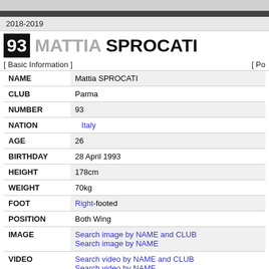2018-2019
93 MATTIA SPROCATI
[ Basic Information ]
| Field | Value |
| --- | --- |
| NAME | Mattia SPROCATI |
| CLUB | Parma |
| NUMBER | 93 |
| NATION | Italy |
| AGE | 26 |
| BIRTHDAY | 28 April 1993 |
| HEIGHT | 178cm |
| WEIGHT | 70kg |
| FOOT | Right-footed |
| POSITION | Both Wing |
| IMAGE | Search image by NAME and CLUB
Search image by NAME |
| VIDEO | Search video by NAME and CLUB
Search video by NAME |